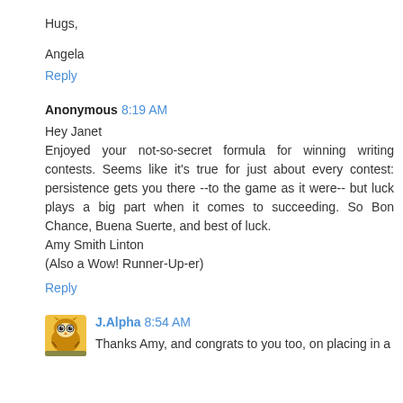Hugs,
Angela
Reply
Anonymous 8:19 AM
Hey Janet
Enjoyed your not-so-secret formula for winning writing contests. Seems like it's true for just about every contest: persistence gets you there --to the game as it were-- but luck plays a big part when it comes to succeeding. So Bon Chance, Buena Suerte, and best of luck.
Amy Smith Linton
(Also a Wow! Runner-Up-er)
Reply
J.Alpha 8:54 AM
Thanks Amy, and congrats to you too, on placing in a